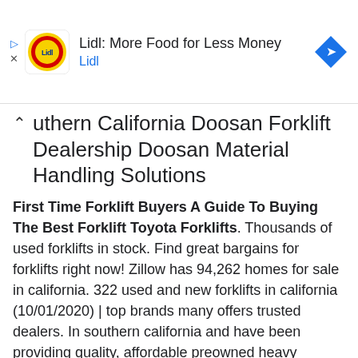[Figure (logo): Lidl advertisement banner with Lidl logo (yellow circle with red Lidl text), ad title 'Lidl: More Food for Less Money', subtitle 'Lidl', and a blue navigation/directions diamond icon on the right]
uthern California Doosan Forklift Dealership Doosan Material Handling Solutions
First Time Forklift Buyers A Guide To Buying The Best Forklift Toyota Forklifts. Thousands of used forklifts in stock. Find great bargains for forklifts right now! Zillow has 94,262 homes for sale in california. 322 used and new forklifts in california (10/01/2020) | top brands many offers trusted dealers. In southern california and have been providing quality, affordable preowned heavy equipment like. Los angeles california forklift sales. We are your southern california independent provider. Forklift nation offers used forklift rentals & sales for southern california, including the los angeles and long beach areas. We will also buy your forklift! Select equipment is your premier resource for